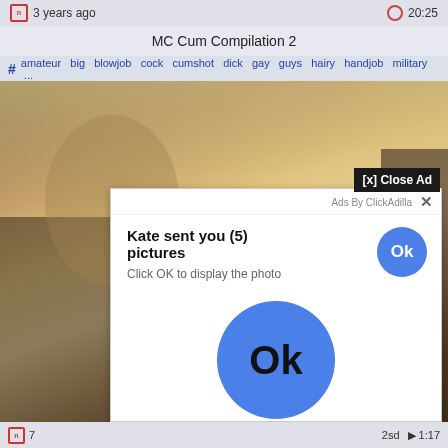3 years ago   20:25
MC Cum Compilation 2
# amateur big blowjob cock cumshot dick gay guys hairy handjob military ...
[Figure (screenshot): Video player screenshot showing blurred/grainy video content with people on what appears to be a bus or vehicle interior]
[x] Close Ad
Ads By ClickAdilla  ×
Kate sent you (5) pictures
Click OK to display the photo
[Figure (screenshot): Large blue circular Ok button in center of ad overlay]
7   2sd   1:17